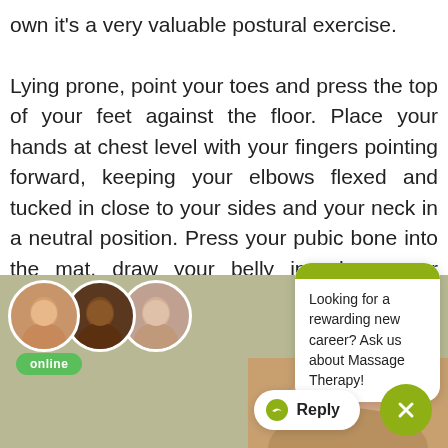own it's a very valuable postural exercise. Lying prone, point your toes and press the top of your feet against the floor. Place your hands at chest level with your fingers pointing forward, keeping your elbows flexed and tucked in close to your sides and your neck in a neutral position. Press your pubic bone into the mat, draw your belly in, shrug your shoulders, and retract your scapulae. Lift
[Figure (screenshot): Chat popup with avatar group, online badge, and message: Looking for a rewarding new career? Ask us about Massage Therapy! with Reply and close buttons. Photo area shows person exercising in background.]